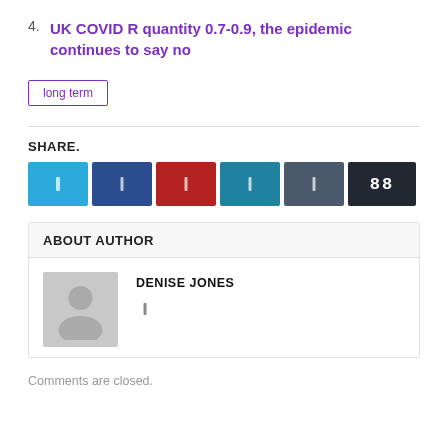4. UK COVID R quantity 0.7-0.9, the epidemic continues to say no
long term
SHARE.
[Figure (other): Social share buttons: Twitter, Facebook, Pinterest, LinkedIn, Tumblr, and a share count button (88)]
ABOUT AUTHOR
[Figure (photo): Grey placeholder avatar image of a person silhouette]
DENISE JONES
Comments are closed.